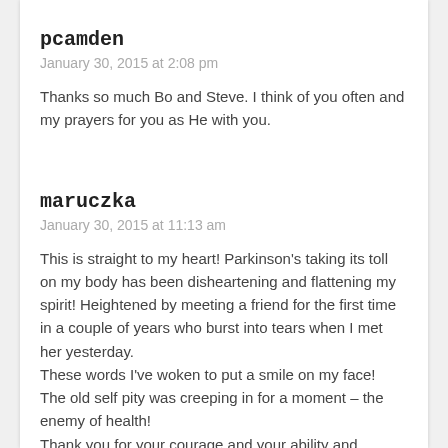pcamden
January 30, 2015 at 2:08 pm
Thanks so much Bo and Steve. I think of you often and my prayers for you as He with you.
maruczka
January 30, 2015 at 11:13 am
This is straight to my heart! Parkinson's taking its toll on my body has been disheartening and flattening my spirit! Heightened by meeting a friend for the first time in a couple of years who burst into tears when I met her yesterday.
These words I've woken to put a smile on my face!
The old self pity was creeping in for a moment – the enemy of health!
Thank you for your courage and your ability and